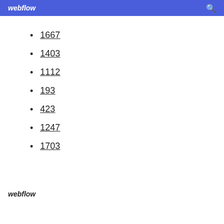webflow
1667
1403
1112
193
423
1247
1703
webflow